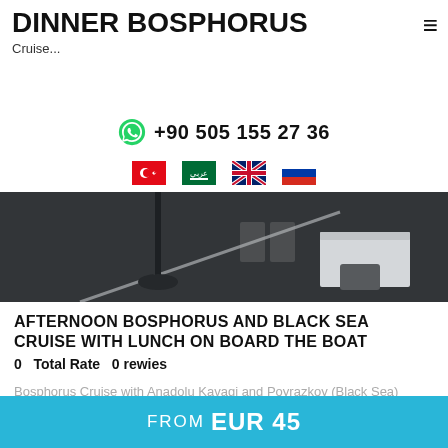DINNER BOSPHORUS
Cruise...
+90 505 155 27 36
[Figure (illustration): Four national flags: Turkey, Saudi Arabia, United Kingdom, Russia]
[Figure (photo): Interior of a boat/cruise deck showing a dark floor with white line marking, a vertical pole with base, and white furniture in the background]
AFTERNOON BOSPHORUS AND BLACK SEA CRUISE WITH LUNCH ON BOARD THE BOAT
0   Total Rate   0 rewies
Bosphorus Cruise with Anadolu Kavagi and Poyrazkoy (Black Sea) included lunch on board.
FROM EUR 45